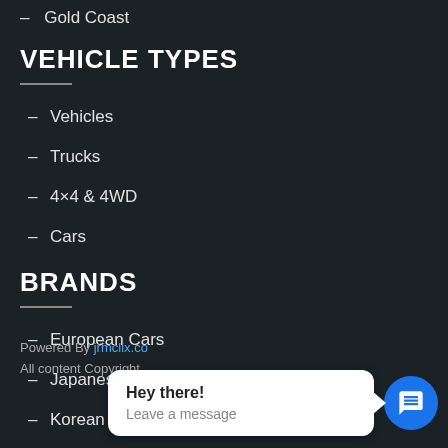Gold Coast
VEHICLE TYPES
Vehicles
Trucks
4×4 & 4WD
Cars
BRANDS
European Cars
Japanese Cars
Korean Cars
American Cars
Powered By jrmclix.co
All content Copyright
[Figure (screenshot): Chat popup with text 'Hey there! Leave a message' and blue chat icon circle]